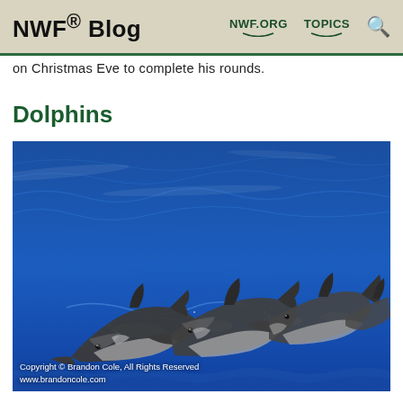NWF® Blog   NWF.ORG   TOPICS   🔍
on Christmas Eve to complete his rounds.
Dolphins
[Figure (photo): Group of dolphins leaping through blue ocean waves]
Copyright © Brandon Cole, All Rights Reserved
www.brandoncole.com